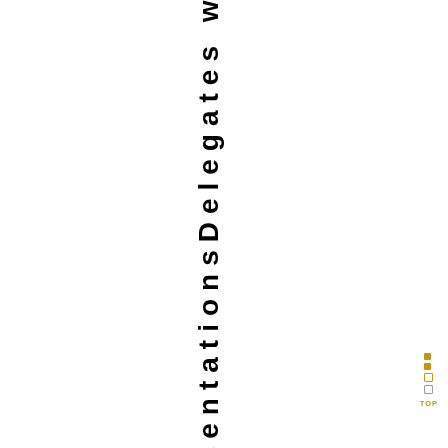-IpresentationsDelegates who gi
[Figure (other): Navigation element with gold and grey dots and TOP label]